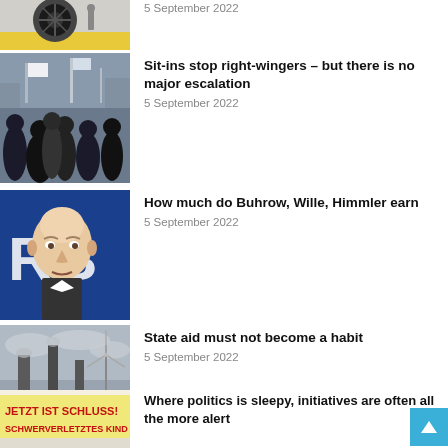[Figure (photo): Partial news item thumbnail showing turbine/engine, cropped at top]
5 September 2022
[Figure (photo): Crowd protest scene, people from behind]
Sit-ins stop right-wingers – but there is no major escalation
5 September 2022
[Figure (photo): Older man in front of RBB logo/background]
How much do Buhrow, Wille, Himmler earn
5 September 2022
[Figure (photo): Industrial smokestacks with wind turbine in background, overcast sky]
State aid must not become a habit
5 September 2022
[Figure (photo): Protest banner reading JETZT IST SCHLUSS! SCHWERVERLETZTES KIND]
Where politics is sleepy, initiatives are often all the more alert